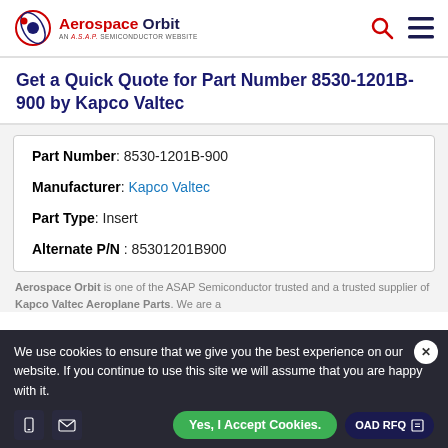Aerospace Orbit — AN A.S.A.P. SEMICONDUCTOR WEBSITE
Get a Quick Quote for Part Number 8530-1201B-900 by Kapco Valtec
| Field | Value |
| --- | --- |
| Part Number | 8530-1201B-900 |
| Manufacturer | Kapco Valtec |
| Part Type | Insert |
| Alternate P/N | 85301201B900 |
We use cookies to ensure that we give you the best experience on our website. If you continue to use this site we will assume that you are happy with it.
Yes, I Accept Cookies.